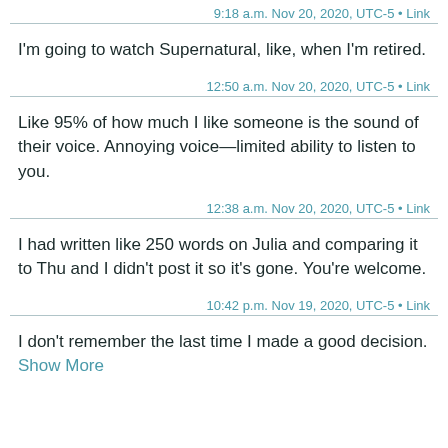9:18 a.m. Nov 20, 2020, UTC-5 • Link
I'm going to watch Supernatural, like, when I'm retired.
12:50 a.m. Nov 20, 2020, UTC-5 • Link
Like 95% of how much I like someone is the sound of their voice. Annoying voice—limited ability to listen to you.
12:38 a.m. Nov 20, 2020, UTC-5 • Link
I had written like 250 words on Julia and comparing it to Thu and I didn't post it so it's gone. You're welcome.
10:42 p.m. Nov 19, 2020, UTC-5 • Link
I don't remember the last time I made a good decision. Show More